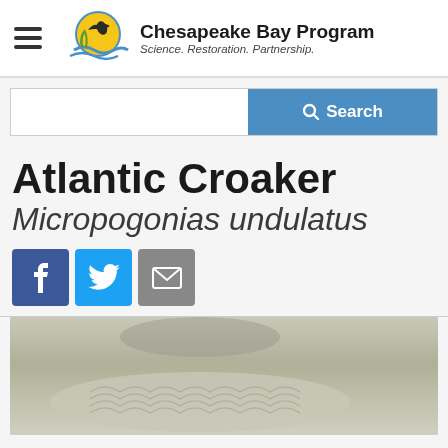Chesapeake Bay Program — Science. Restoration. Partnership.
[Figure (screenshot): Search bar with blue Search button and magnifying glass icon]
Atlantic Croaker
Micropogonias undulatus
[Figure (photo): Close-up photograph of an Atlantic Croaker fish showing scaled body on a light surface]